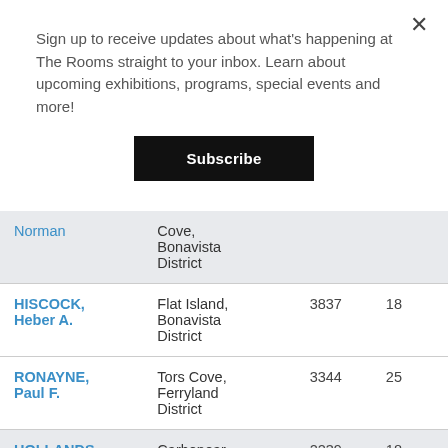Sign up to receive updates about what's happening at The Rooms straight to your inbox. Learn about upcoming exhibitions, programs, special events and more!
Subscribe
| Name | Place | Number | Value |
| --- | --- | --- | --- |
| Norman | Cove, Bonavista District |  |  |
| HISCOCK, Heber A. | Flat Island, Bonavista District | 3837 | 18 |
| RONAYNE, Paul F. | Tors Cove, Ferryland District | 3344 | 25 |
| HOLLANDS, | Carbonear, | 2239 | 18 |